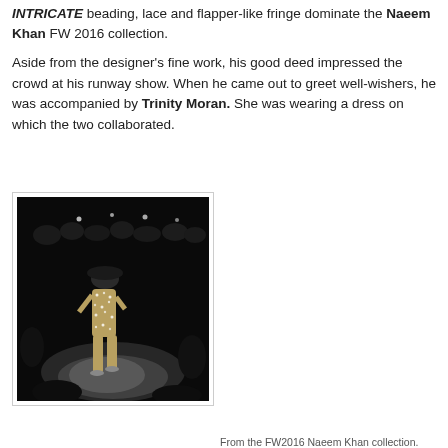INTRICATE beading, lace and flapper-like fringe dominate the Naeem Khan FW 2016 collection.
Aside from the designer's fine work, his good deed impressed the crowd at his runway show. When he came out to greet well-wishers, he was accompanied by Trinity Moran. She was wearing a dress on which the two collaborated.
[Figure (photo): A model walking the runway at the Naeem Khan FW2016 show, wearing a patterned outfit, against a dark background with audience silhouettes.]
From the FW2016 Naeem Khan collection.